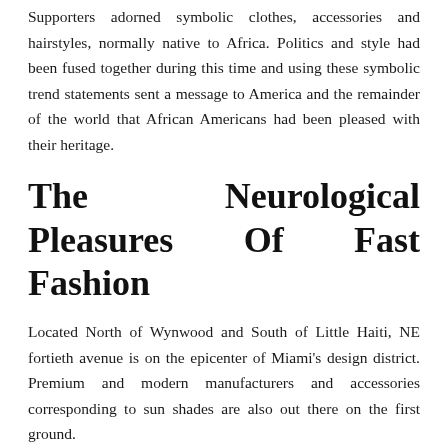Supporters adorned symbolic clothes, accessories and hairstyles, normally native to Africa. Politics and style had been fused together during this time and using these symbolic trend statements sent a message to America and the remainder of the world that African Americans had been pleased with their heritage.
The Neurological Pleasures Of Fast Fashion
Located North of Wynwood and South of Little Haiti, NE fortieth avenue is on the epicenter of Miami's design district. Premium and modern manufacturers and accessories corresponding to sun shades are also out there on the first ground.
Popular occasions celebrate holidays, native artwork and culture, and visitors may even see works by Coachella Valley artists. In fact, the walls are lined with artwork, providing buyers each native perception and a fun purchasing experience. The district houses greater than 20 artwork galleries, featuring Palm Desert culture through summary, up